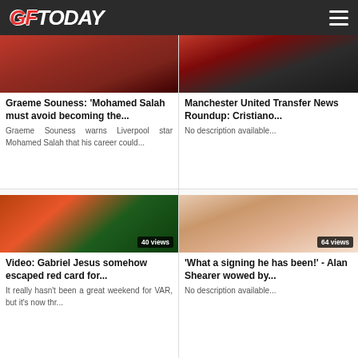GFToday
[Figure (photo): Photo of Mohamed Salah in Liverpool red kit]
Graeme Souness: 'Mohamed Salah must avoid becoming the...
Graeme Souness warns Liverpool star Mohamed Salah that his career could...
[Figure (photo): Photo of Manchester United manager in dark coat]
Manchester United Transfer News Roundup: Cristiano...
No description available...
33M AGO FROM SPORTSMOLE.CO.UK
4H AGO FROM SPORTSKEEDA.COM
[Figure (photo): Video still of Gabriel Jesus football match, 40 views]
Video: Gabriel Jesus somehow escaped red card for...
It really hasn't been a great weekend for VAR, but it's now thr...
[Figure (photo): Photo of Alan Shearer with Arsenal badge, 64 views]
'What a signing he has been!' - Alan Shearer wowed by...
No description available...